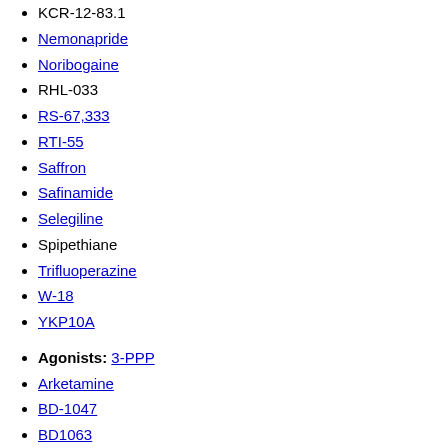KCR-12-83.1
Nemonapride
Noribogaine
RHL-033
RS-67,333
RTI-55
Saffron
Safinamide
Selegiline
Spipethiane
Trifluoperazine
W-18
YKP10A
Agonists: 3-PPP
Arketamine
BD-1047
BD1063
Ditolylguanidine (DTG)
DKR-1005
DKR-1051
Haloperidol
Ifenprodil
Ketamine
MDMA (midomafetamine)